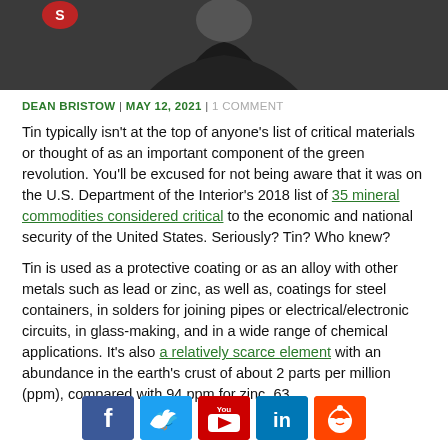[Figure (photo): Cropped photo showing a person in a dark blazer against a light background, upper body visible]
DEAN BRISTOW | MAY 12, 2021 | 1 COMMENT
Tin typically isn't at the top of anyone's list of critical materials or thought of as an important component of the green revolution. You'll be excused for not being aware that it was on the U.S. Department of the Interior's 2018 list of 35 mineral commodities considered critical to the economic and national security of the United States. Seriously? Tin? Who knew?
Tin is used as a protective coating or as an alloy with other metals such as lead or zinc, as well as, coatings for steel containers, in solders for joining pipes or electrical/electronic circuits, in glass-making, and in a wide range of chemical applications. It's also a relatively scarce element with an abundance in the earth's crust of about 2 parts per million (ppm), compared with 94 ppm for zinc, 63
[Figure (other): Social media sharing buttons: Facebook, Twitter, YouTube, LinkedIn, Reddit]